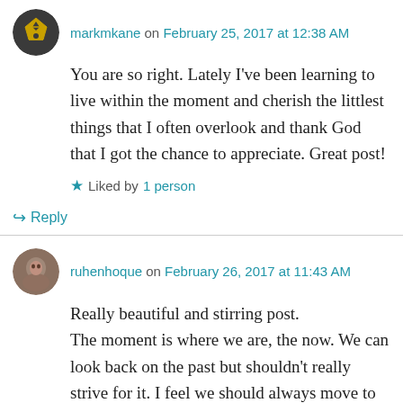markmkane on February 25, 2017 at 12:38 AM
You are so right. Lately I've been learning to live within the moment and cherish the littlest things that I often overlook and thank God that I got the chance to appreciate. Great post!
★ Liked by 1 person
↪ Reply
ruhenhoque on February 26, 2017 at 11:43 AM
Really beautiful and stirring post.
The moment is where we are, the now. We can look back on the past but shouldn't really strive for it. I feel we should always move to the future, to our next destination. However, every step we take forwards means we must informed by our